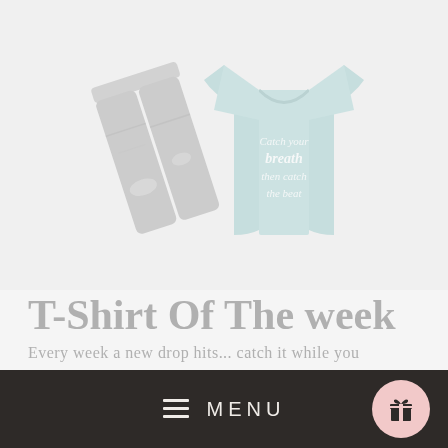[Figure (photo): A light blue t-shirt with white cursive text reading 'Catch your breath then catch the beat', displayed alongside grey distressed jeans, on a light grey/white background.]
T-Shirt Of The week
Every week a new drop hits... catch it while you
[Figure (screenshot): Dark brown navigation menu bar with hamburger icon, 'MENU' text in white, and a pink circular gift/reward icon button on the right.]